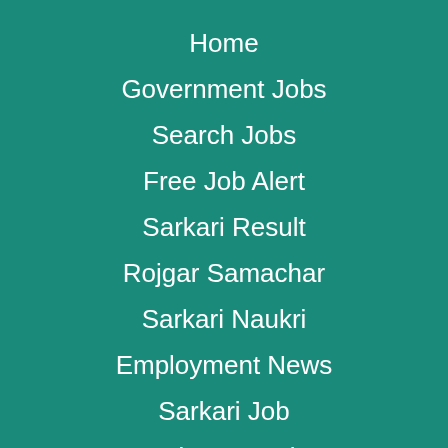Home
Government Jobs
Search Jobs
Free Job Alert
Sarkari Result
Rojgar Samachar
Sarkari Naukri
Employment News
Sarkari Job
Rojgar Result
Jobs By Companies